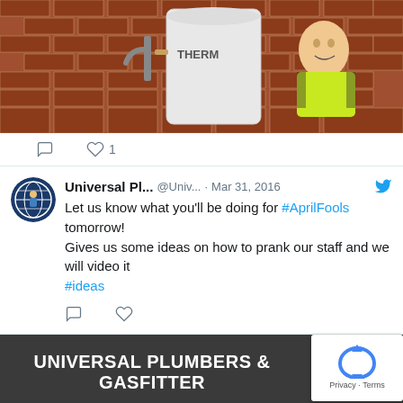[Figure (photo): Photo of a plumber in a hi-vis yellow shirt posing next to a Thermann hot water unit against a brick wall]
♡ 1
Universal Pl... @Univ... · Mar 31, 2016
Let us know what you'll be doing for #AprilFools tomorrow!
Gives us some ideas on how to prank our staff and we will video it
#ideas
UNIVERSAL PLUMBERS & GASFITTER
Phone: 0412 919 777